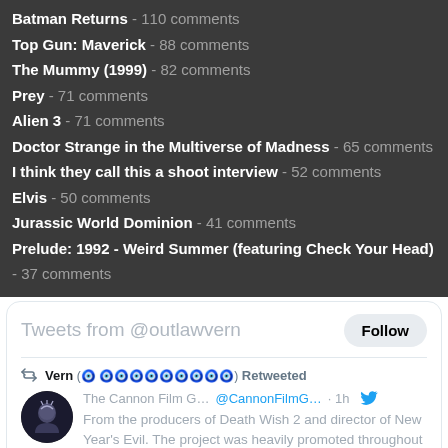Batman Returns - 110 comments
Top Gun: Maverick - 88 comments
The Mummy (1999) - 82 comments
Prey - 71 comments
Alien 3 - 71 comments
Doctor Strange in the Multiverse of Madness - 65 comments
I think they call this a shoot interview - 52 comments
Elvis - 50 comments
Jurassic World Dominion - 41 comments
Prelude: 1992 - Weird Summer (featuring Check Your Head) - 37 comments
[Figure (screenshot): Twitter widget showing Tweets from @outlawvern with a Follow button, and a retweet by VERN of The Cannon Film G... @CannonFilmG... 1h, with tweet text about producers of Death Wish 2 and director of New Year's Evil, with 2 comments and 19 likes.]